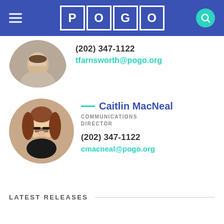POGO
(202) 347-1122
tfarnsworth@pogo.org
[Figure (photo): Circular portrait photo of a man with a beard, smiling, wearing a light blue shirt]
[Figure (photo): Circular portrait photo of a young woman with long brown hair, wearing glasses and a dark top, smiling]
Caitlin MacNeal
COMMUNICATIONS DIRECTOR
(202) 347-1122
cmacneal@pogo.org
LATEST RELEASES